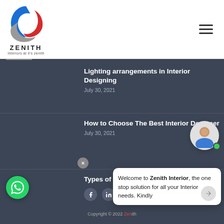[Figure (logo): Zenith Interiors logo with blue and red swoosh design, text ZENITH and tagline Interiors at it's zenith]
Lighting arrangements in Interior Designing
July 30, 2021
How to Choose The Best Interior Designer
July 30, 2021
Types of Chimney Hoods
Copyright © 2022 Zenith